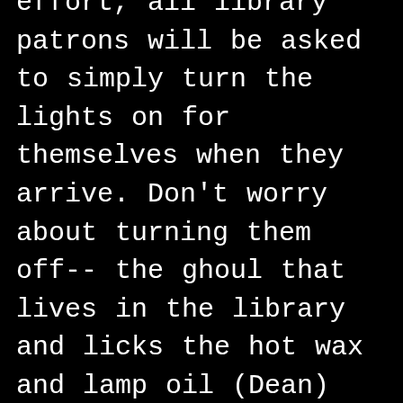effort, all library patrons will be asked to simply turn the lights on for themselves when they arrive. Don't worry about turning them off-- the ghoul that lives in the library and licks the hot wax and lamp oil (Dean) will blow the lights out when you leave. He loves to do it, and it doesn't hurt anyone, so please just let him. Dean will not